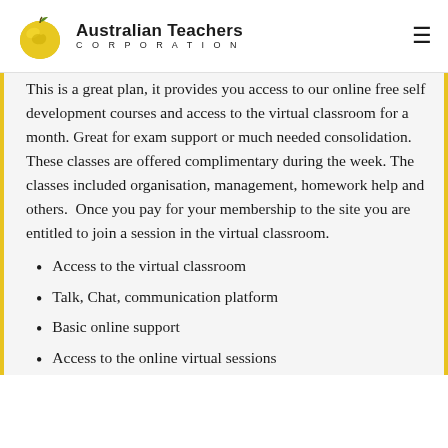Australian Teachers CORPORATION
This is a great plan, it provides you access to our online free self development courses and access to the virtual classroom for a month. Great for exam support or much needed consolidation. These classes are offered complimentary during the week. The classes included organisation, management, homework help and others.  Once you pay for your membership to the site you are entitled to join a session in the virtual classroom.
Access to the virtual classroom
Talk, Chat, communication platform
Basic online support
Access to the online virtual sessions